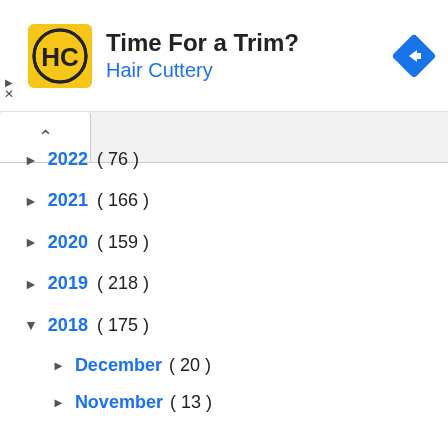[Figure (infographic): Hair Cuttery advertisement banner with yellow logo containing HC letters, title 'Time For a Trim?', subtitle 'Hair Cuttery' in blue, and a blue navigation diamond icon on the right]
► 2022 ( 76 )
► 2021 ( 166 )
► 2020 ( 159 )
► 2019 ( 218 )
▼ 2018 ( 175 )
► December ( 20 )
► November ( 13 )